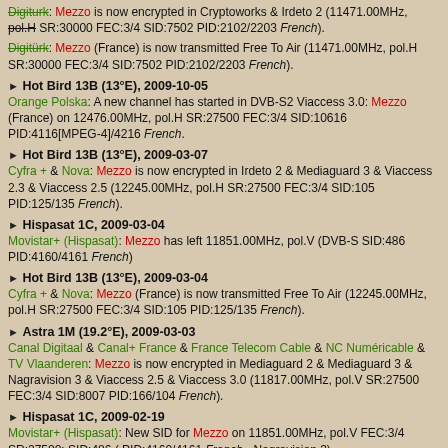Digiturk: Mezzo is now encrypted in Cryptoworks & Irdeto 2 (11471.00MHz, pol.H SR:30000 FEC:3/4 SID:7502 PID:2102/2203 French).
Digiturk: Mezzo (France) is now transmitted Free To Air (11471.00MHz, pol.H SR:30000 FEC:3/4 SID:7502 PID:2102/2203 French).
Hot Bird 13B (13°E), 2009-10-05
Orange Polska: A new channel has started in DVB-S2 Viaccess 3.0: Mezzo (France) on 12476.00MHz, pol.H SR:27500 FEC:3/4 SID:10616 PID:4116[MPEG-4]/4216 French.
Hot Bird 13B (13°E), 2009-03-07
Cyfra + & Nova: Mezzo is now encrypted in Irdeto 2 & Mediaguard 3 & Viaccess 2.3 & Viaccess 2.5 (12245.00MHz, pol.H SR:27500 FEC:3/4 SID:105 PID:125/135 French).
Hispasat 1C, 2009-03-04
Movistar+ (Hispasat): Mezzo has left 11851.00MHz, pol.V (DVB-S SID:486 PID:4160/4161 French)
Hot Bird 13B (13°E), 2009-03-04
Cyfra + & Nova: Mezzo (France) is now transmitted Free To Air (12245.00MHz, pol.H SR:27500 FEC:3/4 SID:105 PID:125/135 French).
Astra 1M (19.2°E), 2009-03-03
Canal Digitaal & Canal+ France & France Telecom Cable & NC Numéricable & TV Vlaanderen: Mezzo is now encrypted in Mediaguard 2 & Mediaguard 3 & Nagravision 3 & Viaccess 2.5 & Viaccess 3.0 (11817.00MHz, pol.V SR:27500 FEC:3/4 SID:8007 PID:166/104 French).
Hispasat 1C, 2009-02-19
Movistar+ (Hispasat): New SID for Mezzo on 11851.00MHz, pol.V FEC:3/4 SR:27500: SID:486 ( PID:4160/4161 French - Nagravision 3).
Astra 1M (19.2°E), 2009-02-12